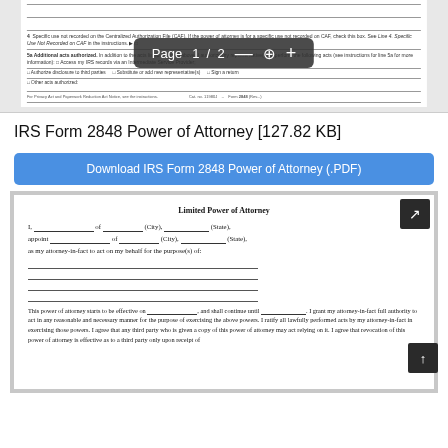[Figure (screenshot): Partial screenshot of IRS Form 2848 PDF with a page navigation overlay showing 'Page 1 / 2' with zoom controls]
IRS Form 2848 Power of Attorney [127.82 KB]
Download IRS Form 2848 Power of Attorney (.PDF)
[Figure (screenshot): Preview of a Limited Power of Attorney document with fill-in blanks for name, city, state, attorney-in-fact, purpose lines, effective date, and a paragraph granting full authority to act on behalf of the grantor.]